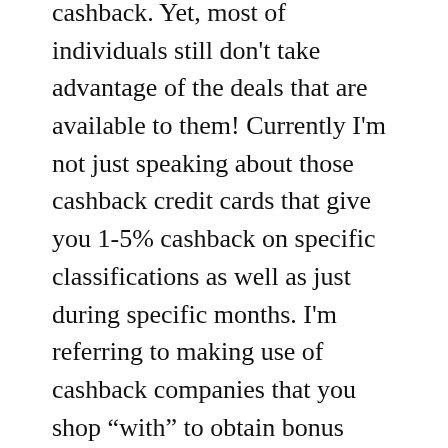cashback. Yet, most of individuals still don't take advantage of the deals that are available to them! Currently I'm not just speaking about those cashback credit cards that give you 1-5% cashback on specific classifications as well as just during specific months. I'm referring to making use of cashback companies that you shop “with” to obtain bonus cashback, often up to 40% back!
Among the BEST business I recognize for getting cashback in store and also online is called Ebates. They provide cashback savings to the largest chain stores like